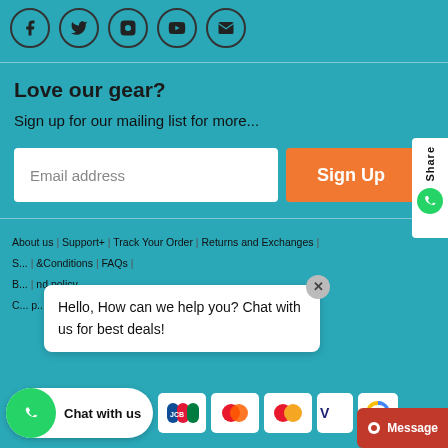[Figure (infographic): Social media icons row: Facebook, Twitter, Instagram, YouTube, Email]
Love our gear?
Sign up for our mailing list for more...
[Figure (infographic): Email address input field and Sign Up button, with Share/WhatsApp button on the right side]
About us | Support+ | Track Your Order | Returns and Exchanges | S... | ...& Conditions | FAQs | B... | ...nd policy | C... | ...p...
Hello, How can we help you? Chat with us for best deals!
[Figure (infographic): Payment icons: AmEx, JCB, Diners Club, Maestro, Mastercard, Visa, reCAPTCHA; WhatsApp Chat with us button; Message button]